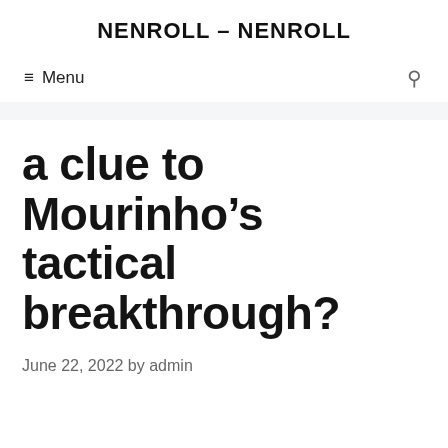NENROLL - NENROLL
≡ Menu
a clue to Mourinho's tactical breakthrough?
June 22, 2022 by admin